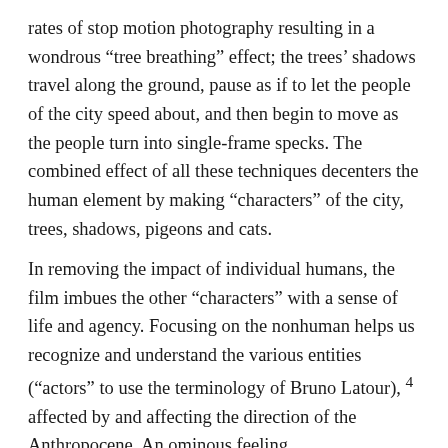rates of stop motion photography resulting in a wondrous “tree breathing” effect; the trees’ shadows travel along the ground, pause as if to let the people of the city speed about, and then begin to move as the people turn into single-frame specks. The combined effect of all these techniques decenters the human element by making “characters” of the city, trees, shadows, pigeons and cats.
In removing the impact of individual humans, the film imbues the other “characters” with a sense of life and agency. Focusing on the nonhuman helps us recognize and understand the various entities (“actors” to use the terminology of Bruno Latour), 4 affected by and affecting the direction of the Anthropocene. An ominous feeling